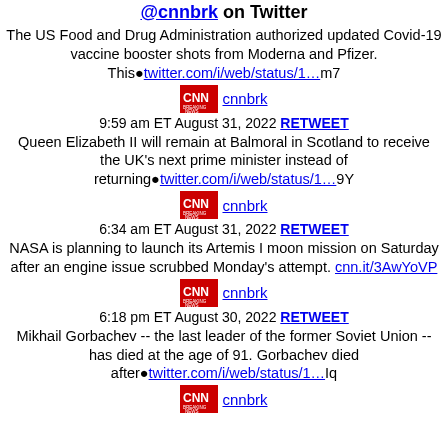@cnnbrk on Twitter
The US Food and Drug Administration authorized updated Covid-19 vaccine booster shots from Moderna and Pfizer. This■twitter.com/i/web/status/1…m7
[Figure (logo): CNN Breaking News logo]
cnnbrk
9:59 am ET August 31, 2022 RETWEET
Queen Elizabeth II will remain at Balmoral in Scotland to receive the UK's next prime minister instead of returning■twitter.com/i/web/status/1…9Y
[Figure (logo): CNN Breaking News logo]
cnnbrk
6:34 am ET August 31, 2022 RETWEET
NASA is planning to launch its Artemis I moon mission on Saturday after an engine issue scrubbed Monday's attempt. cnn.it/3AwYoVP
[Figure (logo): CNN Breaking News logo]
cnnbrk
6:18 pm ET August 30, 2022 RETWEET
Mikhail Gorbachev -- the last leader of the former Soviet Union -- has died at the age of 91. Gorbachev died after■twitter.com/i/web/status/1…Iq
[Figure (logo): CNN Breaking News logo]
cnnbrk